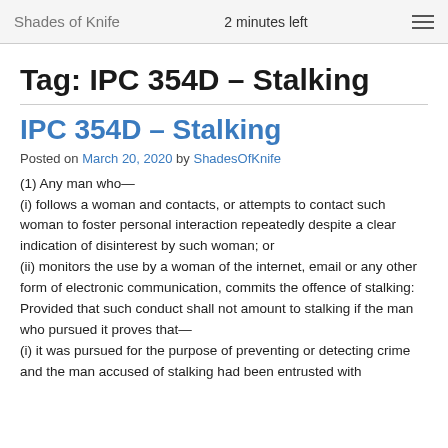Shades of Knife   2 minutes left
Tag: IPC 354D – Stalking
IPC 354D – Stalking
Posted on March 20, 2020 by ShadesOfKnife
(1) Any man who—
(i) follows a woman and contacts, or attempts to contact such woman to foster personal interaction repeatedly despite a clear indication of disinterest by such woman; or
(ii) monitors the use by a woman of the internet, email or any other form of electronic communication, commits the offence of stalking:
Provided that such conduct shall not amount to stalking if the man who pursued it proves that—
(i) it was pursued for the purpose of preventing or detecting crime and the man accused of stalking had been entrusted with